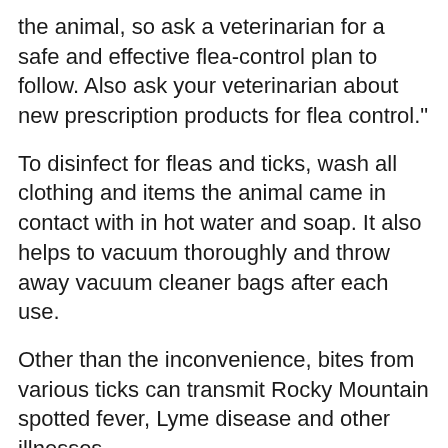the animal, so ask a veterinarian for a safe and effective flea-control plan to follow. Also ask your veterinarian about new prescription products for flea control."
To disinfect for fleas and ticks, wash all clothing and items the animal came in contact with in hot water and soap. It also helps to vacuum thoroughly and throw away vacuum cleaner bags after each use.
Other than the inconvenience, bites from various ticks can transmit Rocky Mountain spotted fever, Lyme disease and other illnesses.
"An animal is most likely to pick up ticks in wooded areas," Hopper said. "Prompt and careful removal of a tick from the pet's skin can reduce the chance of infection. Wear protective gloves and use tweezers to grasp the tick near its head while pulling it off."
Another area of concern arises when pet owners go on